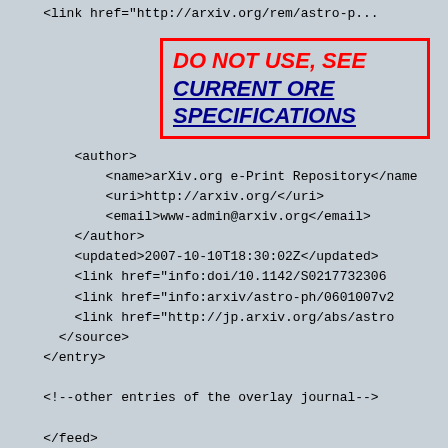<link href="http://arxiv.org/rem/astro-ph...
DO NOT USE, SEE CURRENT ORE SPECIFICATIONS
<author>
    <name>arXiv.org e-Print Repository</name>
    <uri>http://arxiv.org/</uri>
    <email>www-admin@arxiv.org</email>
  </author>
  <updated>2007-10-10T18:30:02Z</updated>
  <link href="info:doi/10.1142/S021773230600...
  <link href="info:arxiv/astro-ph/0601007v2...
  <link href="http://jp.arxiv.org/abs/astro...
  </source>
  </entry>

  <!--other entries of the overlay journal-->

  </feed>
5.2 /feed/entry/link[@rel="via"]/@href
Now imagine this issue of the overlay journal becomes popular in the scientific blog community,